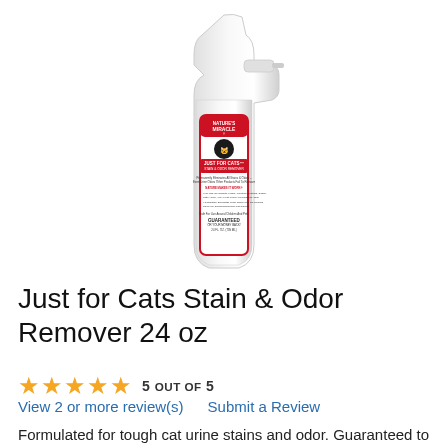[Figure (photo): Nature's Miracle Just for Cats Stain & Odor Remover white spray bottle, 24 fl oz]
Just for Cats Stain & Odor Remover 24 oz
5 OUT OF 5
View 2 or more review(s)    Submit a Review
Formulated for tough cat urine stains and odor. Guaranteed to permanently eliminate all stains & odors – even urine odors